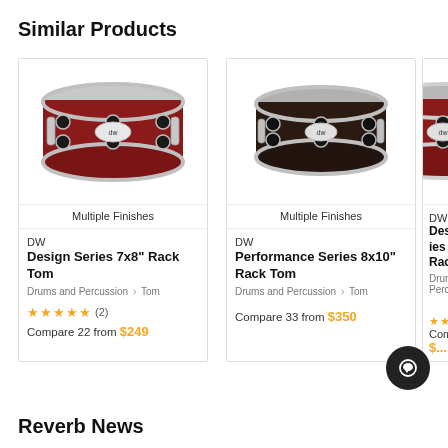Similar Products
[Figure (photo): DW Design Series 7x8" Rack Tom drum in red finish with chrome hardware]
Multiple Finishes
DW
Design Series 7x8" Rack Tom
Drums and Percussion > Tom
★★★★★ (2)
Compare 22 from $249
[Figure (photo): DW Performance Series 8x10" Rack Tom drum in dark finish with chrome hardware]
Multiple Finishes
DW
Performance Series 8x10" Rack Tom
Drums and Percussion > Tom
Compare 33 from $350
[Figure (photo): DW Design Series 7x8" Rack Tom (partial view) with chrome hardware]
DW
Design Ser... A 7x8" Rack Tom
Drums and Percuss...
★★★★★
Compa...5 from $...
Reverb News